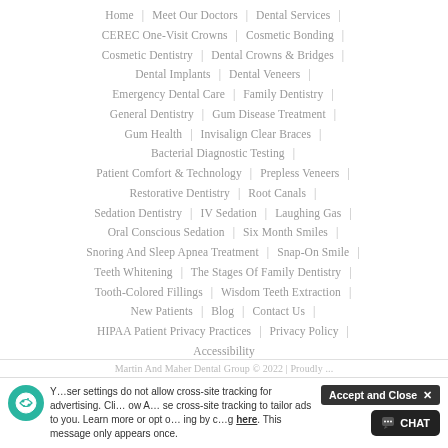Home | Meet Our Doctors | Dental Services | CEREC One-Visit Crowns | Cosmetic Bonding | Cosmetic Dentistry | Dental Crowns & Bridges | Dental Implants | Dental Veneers | Emergency Dental Care | Family Dentistry | General Dentistry | Gum Disease Treatment | Gum Health | Invisalign Clear Braces | Bacterial Diagnostic Testing | Patient Comfort & Technology | Prepless Veneers | Restorative Dentistry | Root Canals | Sedation Dentistry | IV Sedation | Laughing Gas | Oral Conscious Sedation | Six Month Smiles | Snoring And Sleep Apnea Treatment | Snap-On Smile | Teeth Whitening | The Stages Of Family Dentistry | Tooth-Colored Fillings | Wisdom Teeth Extraction | New Patients | Blog | Contact Us | HIPAA Patient Privacy Practices | Privacy Policy | Accessibility
Martin And Maher Dental Group © 2022 | Proudly ...
Your browser settings do not allow cross-site tracking for advertising. Click here to allow. Allow cross-site tracking to tailor ads to you. Learn more or opt out by clicking here. This message only appears once.